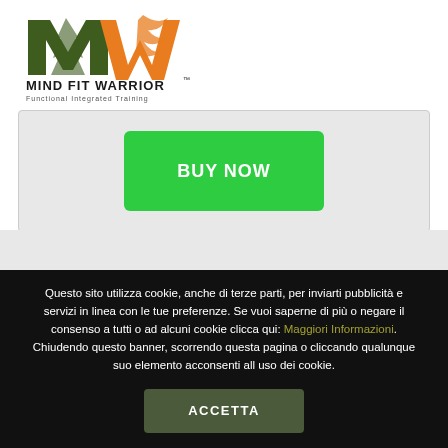[Figure (logo): Mind Fit Warrior logo with green M and orange W letters above text MIND FIT WARRIOR and Functional Integrated Training]
[Figure (screenshot): Green BUY NOW button centered inside a light grey card/box area]
Questo sito utilizza cookie, anche di terze parti, per inviarti pubblicità e servizi in linea con le tue preferenze. Se vuoi saperne di più o negare il consenso a tutti o ad alcuni cookie clicca qui: Maggiori Informazioni. Chiudendo questo banner, scorrendo questa pagina o cliccando qualunque suo elemento acconsenti all uso dei cookie.
ACCETTA